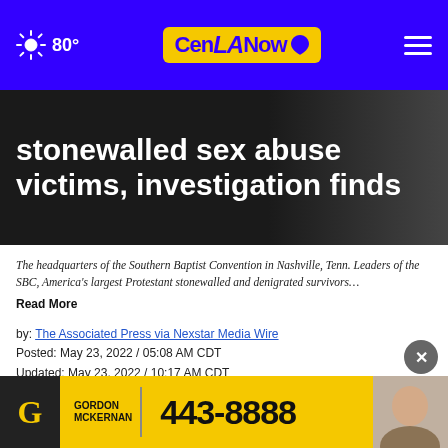80° CenLANow
stonewalled sex abuse victims, investigation finds
The headquarters of the Southern Baptist Convention in Nashville, Tenn. Leaders of the SBC, America's largest Protestant stonewalled and denigrated survivors… Read More
by: The Associated Press via Nexstar Media Wire
Posted: May 23, 2022 / 05:08 AM CDT
Updated: May 23, 2022 / 10:17 AM CDT
SHARE
Leaders
America's largest Protestant denomination
[Figure (other): Gordon McKernan advertisement banner: GORDON MCKERNAN 443-8888]